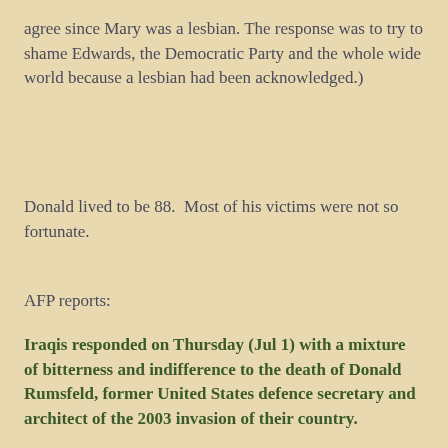agree since Mary was a lesbian. The response was to try to shame Edwards, the Democratic Party and the whole wide world because a lesbian had been acknowledged.)
Donald lived to be 88.  Most of his victims were not so fortunate.
AFP reports:
Iraqis responded on Thursday (Jul 1) with a mixture of bitterness and indifference to the death of Donald Rumsfeld, former United States defence secretary and architect of the 2003 invasion of their country.